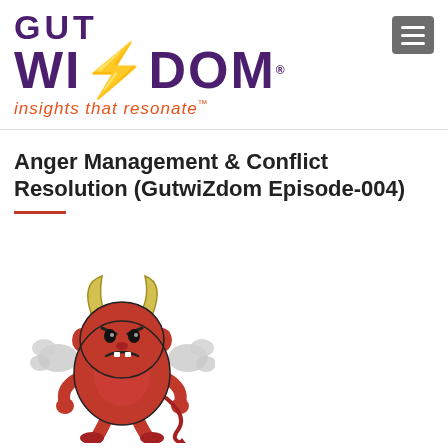[Figure (logo): GutWizdom logo with text GUT WIZDOM and tagline 'insights that resonate' in purple and orange, with a hamburger menu button top right]
Anger Management & Conflict Resolution (GutwiZdom Episode-004)
[Figure (illustration): Cartoon angry red devil monster with horns, frowning face, and steam puffs coming from the sides of its head]